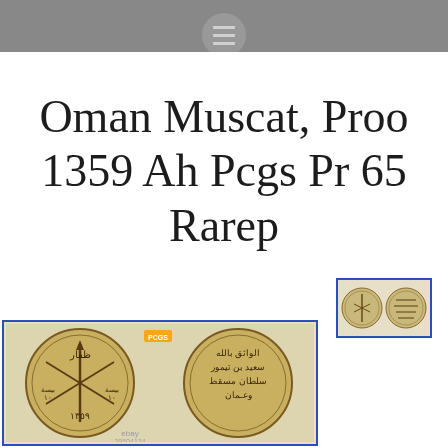≡
Oman Muscat, Proo 1359 Ah Pcgs Pr 65 Rarep
[Figure (photo): Small thumbnail image of two Omani coins showing obverse and reverse, with a blue border frame]
[Figure (photo): Large image of two Omani gold/bronze coins: left coin shows Omani dagger and swords emblem with Arabic text and date 1359, right coin shows Arabic calligraphic inscription. PCGS logo visible. eBay watermark at bottom.]